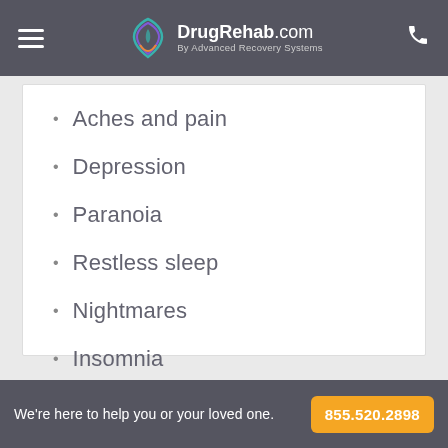DrugRehab.com by Advanced Recovery Systems
Aches and pain
Depression
Paranoia
Restless sleep
Nightmares
Insomnia
We're here to help you or your loved one. 855.520.2898